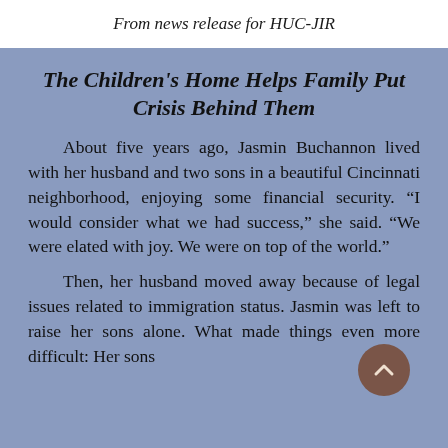From news release for HUC-JIR
The Children's Home Helps Family Put Crisis Behind Them
About five years ago, Jasmin Buchannon lived with her husband and two sons in a beautiful Cincinnati neighborhood, enjoying some financial security. “I would consider what we had success,” she said. “We were elated with joy. We were on top of the world.”
Then, her husband moved away because of legal issues related to immigration status. Jasmin was left to raise her sons alone. What made things even more difficult: Her sons